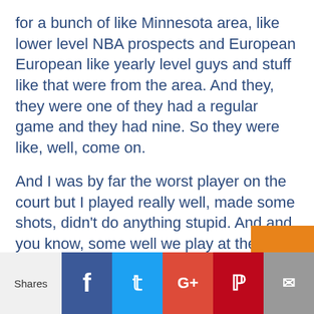for a bunch of like Minnesota area, like lower level NBA prospects and European European like yearly level guys and stuff like that were from the area. And they, they were one of they had a regular game and they had nine. So they were like, well, come on.
And I was by far the worst player on the court but I played really well, made some shots, didn't do anything stupid. And and you know, some well we play at these times keep coming back. And I, so I played in that game like three times a week, that whole summer, worst player on the court every
Shares | Facebook | Twitter | Google+ | Pinterest | Email